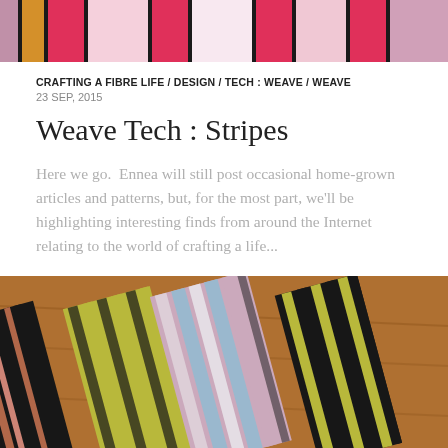[Figure (photo): Close-up photo of colorful striped woven textile bands with pink, black, gold, and white colors on a light background, cropped at top of page]
CRAFTING A FIBRE LIFE / DESIGN / TECH : WEAVE / WEAVE
23 SEP, 2015
Weave Tech : Stripes
Here we go.  Ennea will still post occasional home-grown articles and patterns, but, for the most part, we'll be highlighting interesting finds from around the Internet relating to the world of crafting a life...
[Figure (photo): Photo of multiple colorful woven inkle-style bands laid on a wooden surface, showing stripes in yellow-green, black, pink, blue, white, and brown patterns]